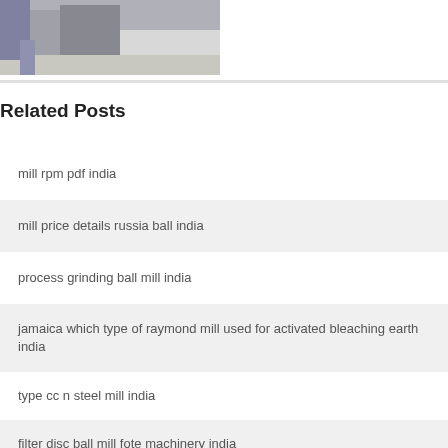[Figure (photo): Partial view of a carpet cleaning machine or industrial equipment on carpet, showing a person's legs and a dark machine]
Related Posts
mill rpm pdf india
mill price details russia ball india
process grinding ball mill india
jamaica which type of raymond mill used for activated bleaching earth india
type cc n steel mill india
filter disc ball mill fote machinery india